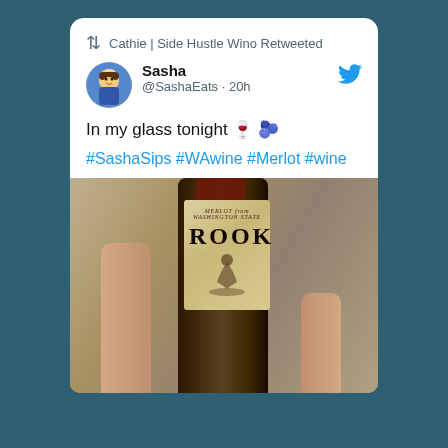Cathie | Side Hustle Wino Retweeted
Sasha @SashaEats · 20h
In my glass tonight 🍷 🍇
#SashaSips #WAwine #Merlot #wine
[Figure (photo): Hand holding a bottle of ROOK Merlot from Washington State wine, showing the label with the brand name ROOK in large serif letters and 'MERLOT from WASHINGTON STATE' above it.]